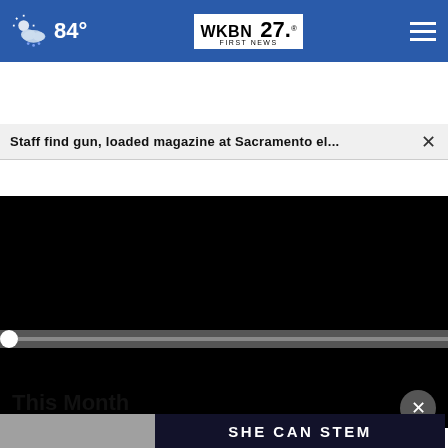84° WKBN FIRST NEWS 27.
Staff find gun, loaded magazine at Sacramento el... ×
[Figure (screenshot): Black video player area, fully dark/empty frame]
00:00
This Month
Everyday Finance
[Figure (infographic): Dark banner advertisement reading SHE CAN STEM in white bold letters]